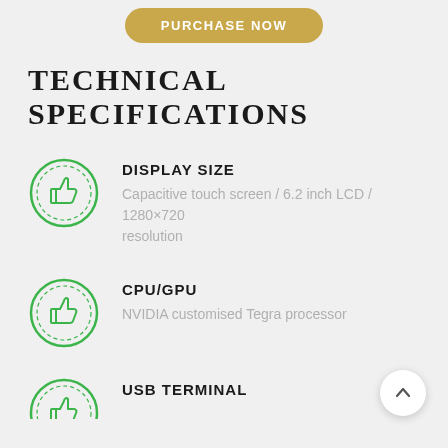[Figure (illustration): Golden/tan rounded button with text PURCHASE NOW in white bold letters]
TECHNICAL SPECIFICATIONS
DISPLAY SIZE - Capacitive touch screen / 6.2 inch LCD / 1280×720 resolution
CPU/GPU - NVIDIA customised Tegra processor
USB TERMINAL